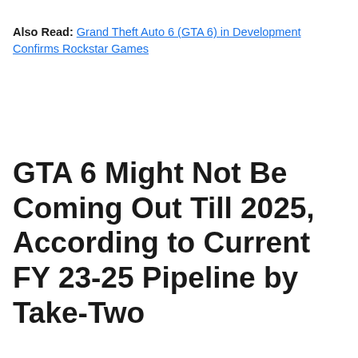Also Read: Grand Theft Auto 6 (GTA 6) in Development Confirms Rockstar Games
GTA 6 Might Not Be Coming Out Till 2025, According to Current FY 23-25 Pipeline by Take-Two